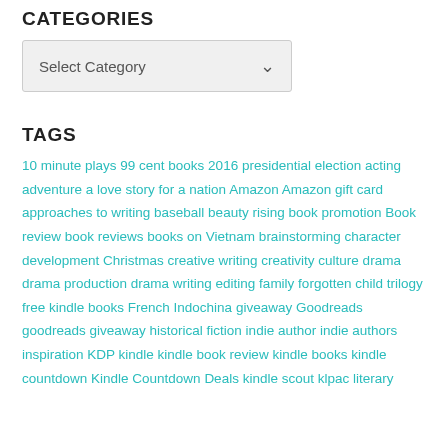CATEGORIES
[Figure (other): Dropdown select box labeled 'Select Category']
TAGS
10 minute plays 99 cent books 2016 presidential election acting adventure a love story for a nation Amazon Amazon gift card approaches to writing baseball beauty rising book promotion Book review book reviews books on Vietnam brainstorming character development Christmas creative writing creativity culture drama drama production drama writing editing family forgotten child trilogy free kindle books French Indochina giveaway Goodreads goodreads giveaway historical fiction indie author indie authors inspiration KDP kindle kindle book review kindle books kindle countdown Kindle Countdown Deals kindle scout klpac literary